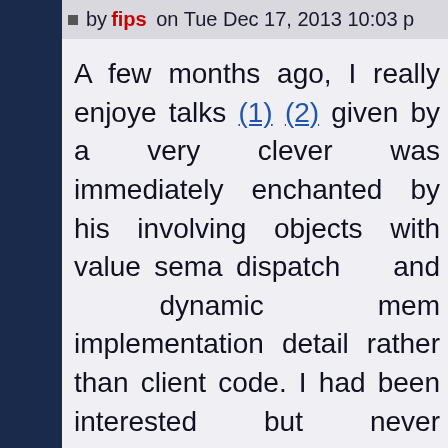by fips on Tue Dec 17, 2013 10:03 p
A few months ago, I really enjoyed talks (1) (2) given by a very clever was immediately enchanted by his involving objects with value sema dispatch and dynamic mem implementation detail rather than client code. I had been interested but never encountered such a goo I've decided to give it a try and experiment to help me study this ap